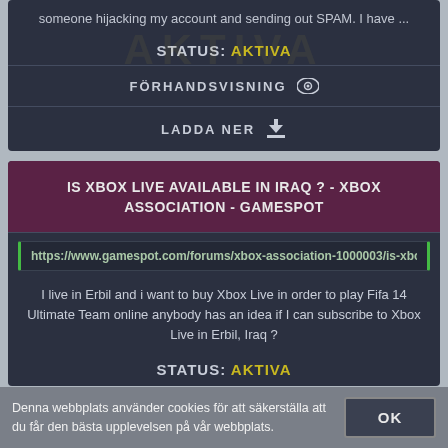someone hijacking my account and sending out SPAM. I have ...
STATUS: AKTIVA
FÖRHANDSVISNING
LADDA NER
IS XBOX LIVE AVAILABLE IN IRAQ ? - XBOX ASSOCIATION - GAMESPOT
https://www.gamespot.com/forums/xbox-association-1000003/is-xbox-liv
I live in Erbil and i want to buy Xbox Live in order to play Fifa 14 Ultimate Team online anybody has an idea if I can subscribe to Xbox Live in Erbil, Iraq ?
STATUS: AKTIVA
Denna webbplats använder cookies för att säkerställa att du får den bästa upplevelsen på vår webbplats.
OK